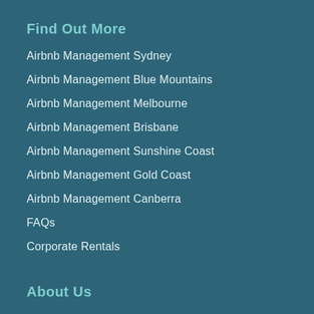Find Out More
Airbnb Management Sydney
Airbnb Management Blue Mountains
Airbnb Management Melbourne
Airbnb Management Brisbane
Airbnb Management Sunshine Coast
Airbnb Management Gold Coast
Airbnb Management Canberra
FAQs
Corporate Rentals
About Us